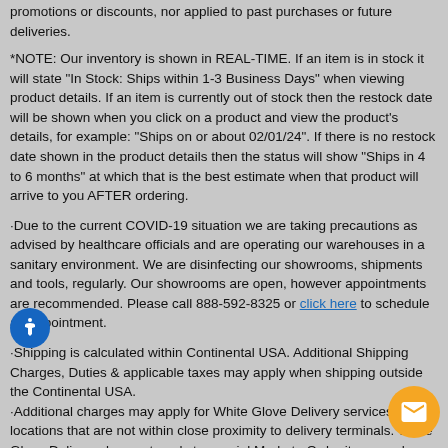promotions or discounts, nor applied to past purchases or future deliveries.
*NOTE: Our inventory is shown in REAL-TIME. If an item is in stock it will state "In Stock: Ships within 1-3 Business Days" when viewing product details. If an item is currently out of stock then the restock date will be shown when you click on a product and view the product's details, for example: "Ships on or about 02/01/24". If there is no restock date shown in the product details then the status will show "Ships in 4 to 6 months" at which that is the best estimate when that product will arrive to you AFTER ordering.
·Due to the current COVID-19 situation we are taking precautions as advised by healthcare officials and are operating our warehouses in a sanitary environment. We are disinfecting our showrooms, shipments and tools, regularly. Our showrooms are open, however appointments are recommended. Please call 888-592-8325 or click here to schedule an appointment.
·Shipping is calculated within Continental USA. Additional Shipping Charges, Duties & applicable taxes may apply when shipping outside the Continental USA. ·Additional charges may apply for White Glove Delivery services for locations that are not within close proximity to delivery terminals. White Glove Delivery does not apply to special Made to Order items such as cushions, umbrella fabrics or furniture covers. ·Please allow extra time for White Glove Delivery and Small Truck orders (excluding small UPS shipments). Orders that have to be delivered via Small Truck may be slightly delayed leaving our warehouse as we locate a Small Truck